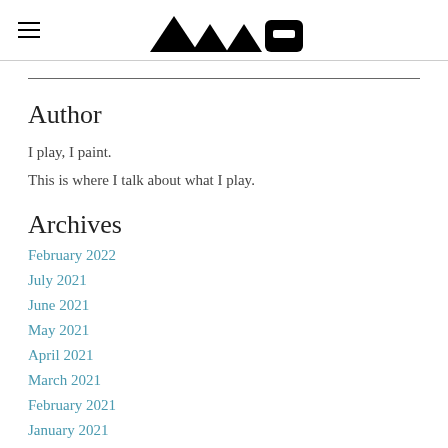Navigation header with logo
Author
I play, I paint.
This is where I talk about what I play.
Archives
February 2022
July 2021
June 2021
May 2021
April 2021
March 2021
February 2021
January 2021